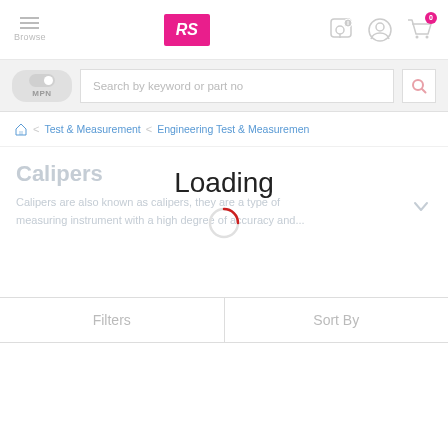[Figure (screenshot): RS Components website header with hamburger menu, RS logo, location pin icon, account icon, and cart icon with badge showing 0]
[Figure (screenshot): Search bar with MPN toggle and search input placeholder 'Search by keyword or part no' with search icon]
Test & Measurement > Engineering Test & Measuremen
Calipers
Calipers are also known as calipers, they are a type of measuring instrument with a high degree of accuracy and...
Loading
Filters
Sort By